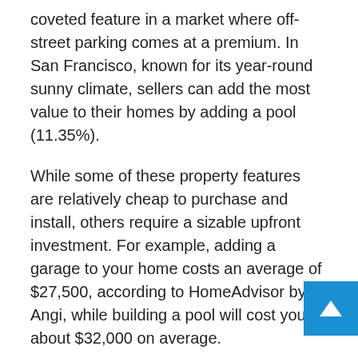coveted feature in a market where off-street parking comes at a premium. In San Francisco, known for its year-round sunny climate, sellers can add the most value to their homes by adding a pool (11.35%).
While some of these property features are relatively cheap to purchase and install, others require a sizable upfront investment. For example, adding a garage to your home costs an average of $27,500, according to HomeAdvisor by Angi, while building a pool will cost you about $32,000 on average.
Fortunately, there are several ways to finance renovations that allow homeowners to tap into their existing home equity or break their upfront costs into fixed monthly installments. Keep